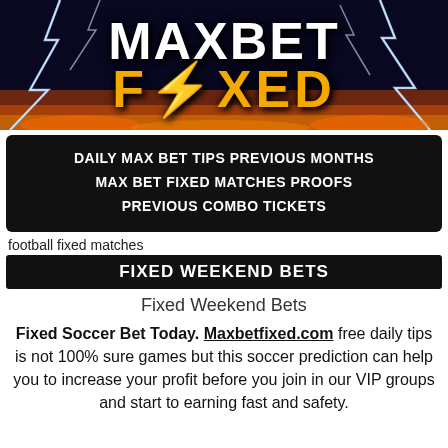[Figure (logo): MAXBET FIXED logo banner with lightning bolts, fire, dark blue and orange background. Large white bold text 'MAXBET' on top and gold/orange bold text 'FIXED' below.]
DAILY MAX BET TIPS PREVIOUS MONTHS
MAX BET FIXED MATCHES PROOFS
PREVIOUS COMBO TICKETS
football fixed matches
FIXED WEEKEND BETS
Fixed Weekend Bets
Fixed Soccer Bet Today. Maxbetfixed.com free daily tips is not 100% sure games but this soccer prediction can help you to increase your profit before you join in our VIP groups and start to earning fast and safety.